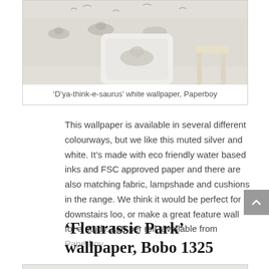[Figure (photo): Photo of a children's room with dinosaur-themed white wallpaper and a cushion with dinosaur pattern on a chair]
'D'ya-think-e-saurus' white wallpaper, Paperboy
This wallpaper is available in several different colourways, but we like this muted silver and white. It's made with eco friendly water based inks and FSC approved paper and there are also matching fabric, lampshade and cushions in the range. We think it would be perfect for a downstairs loo, or make a great feature wall for a study. £60 per roll, available from Paperboy.
'Fleurassic Park' wallpaper, Bobo 1325
[Figure (photo): Bottom portion of another wallpaper product image, partially visible]